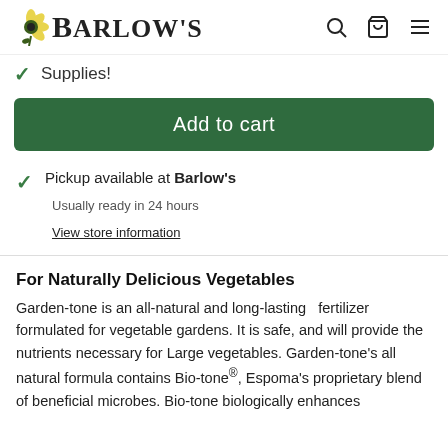Barlow's
Supplies!
Add to cart
Pickup available at Barlow's
Usually ready in 24 hours
View store information
For Naturally Delicious Vegetables
Garden-tone is an all-natural and long-lasting  fertilizer formulated for vegetable gardens. It is safe, and will provide the nutrients necessary for Large vegetables. Garden-tone's all natural formula contains Bio-tone®, Espoma's proprietary blend of beneficial microbes. Bio-tone biologically enhances Espoma's standard fertilizer components, providing lush...